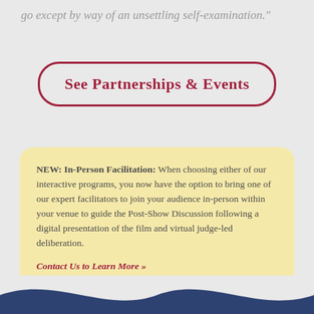go except by way of an unsettling self-examination."
See Partnerships & Events
NEW: In-Person Facilitation: When choosing either of our interactive programs, you now have the option to bring one of our expert facilitators to join your audience in-person within your venue to guide the Post-Show Discussion following a digital presentation of the film and virtual judge-led deliberation.
Contact Us to Learn More »